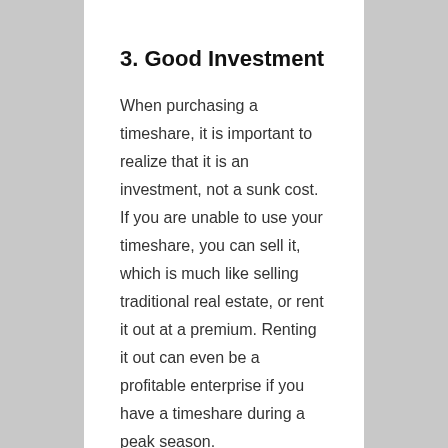3. Good Investment
When purchasing a timeshare, it is important to realize that it is an investment, not a sunk cost. If you are unable to use your timeshare, you can sell it, which is much like selling traditional real estate, or rent it out at a premium. Renting it out can even be a profitable enterprise if you have a timeshare during a peak season.
4. Makes a Great Gift
If you are unable to use your timeshare, it can make the perfect...